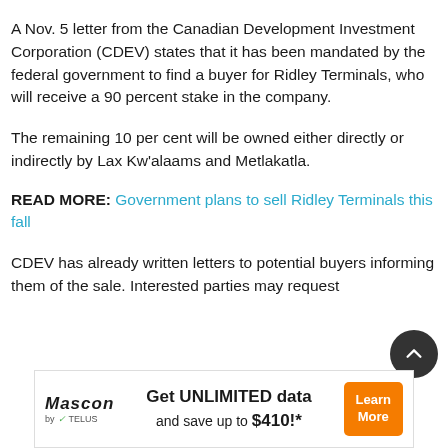A Nov. 5 letter from the Canadian Development Investment Corporation (CDEV) states that it has been mandated by the federal government to find a buyer for Ridley Terminals, who will receive a 90 percent stake in the company.
The remaining 10 per cent will be owned either directly or indirectly by Lax Kw'alaams and Metlakatla.
READ MORE: Government plans to sell Ridley Terminals this fall
CDEV has already written letters to potential buyers informing them of the sale. Interested parties may request …
[Figure (other): Advertisement banner: Mascon by TELUS — Get UNLIMITED data and save up to $410!* Learn More button]
[Figure (other): Back to top circular button (dark grey with upward chevron arrow)]